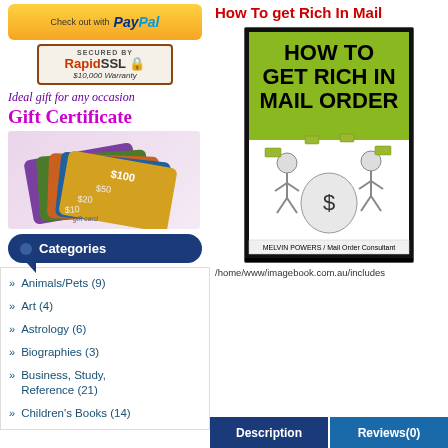[Figure (logo): PayPal checkout button with gold gradient background]
[Figure (logo): RapidSSL secured badge with $10,000 Warranty]
Ideal gift for any occasion
Gift Certificate
[Figure (illustration): Gift cards showing $100, $50, $20, $10 denominations]
Categories
Animals/Pets (9)
Art (4)
Astrology (6)
Biographies (3)
Business, Study, Reference (21)
Children's Books (14)
How To get Rich In Mail
[Figure (photo): Book cover: HOW TO GET RICH IN MAIL ORDER by Melvin Powers / Mail Order Consultant, with illustration of people with money bag]
/home/www/imagebook.com.au/includes
Description
Reviews(0)